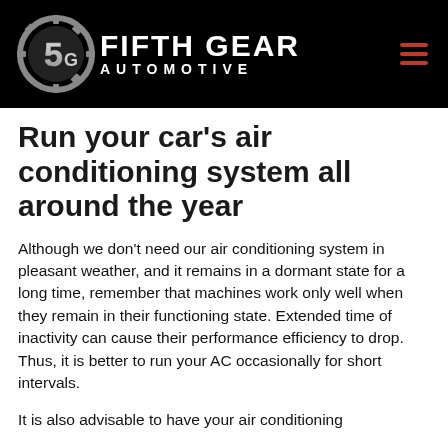Fifth Gear Automotive
Run your car's air conditioning system all around the year
Although we don't need our air conditioning system in pleasant weather, and it remains in a dormant state for a long time, remember that machines work only well when they remain in their functioning state. Extended time of inactivity can cause their performance efficiency to drop. Thus, it is better to run your AC occasionally for short intervals.
It is also advisable to have your air conditioning